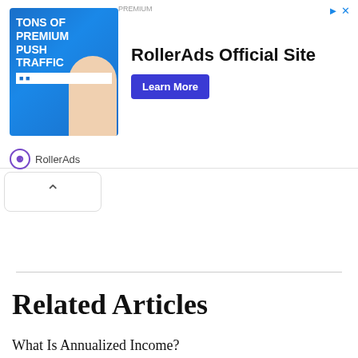[Figure (illustration): RollerAds advertisement banner with image of woman, text 'TONS OF PREMIUM PUSH TRAFFIC', a Learn More button, and RollerAds branding]
Related Articles
What Is Annualized Income?
What are the Penalties for Tax Evasion?
What is an Estimated Tax Penalty?
What is an Installment Payment?
What is a Taxpayer Advocate Service?